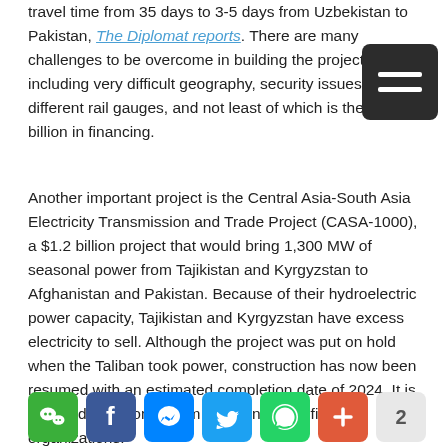travel time from 35 days to 3-5 days from Uzbekistan to Pakistan, The Diplomat reports. There are many challenges to be overcome in building the project, including very difficult geography, security issues, different rail gauges, and not least of which is the $4.8 billion in financing.
Another important project is the Central Asia-South Asia Electricity Transmission and Trade Project (CASA-1000), a $1.2 billion project that would bring 1,300 MW of seasonal power from Tajikistan and Kyrgyzstan to Afghanistan and Pakistan. Because of their hydroelectric power capacity, Tajikistan and Kyrgyzstan have excess electricity to sell. Although the project was put on hold when the Taliban took power, construction has now been resumed with an estimated completion date of 2024. It is financed by a consortium of international financial organizations.
[Figure (other): Row of social media sharing icons: WeChat (green), Facebook (blue), Messenger (blue), Twitter (blue), WhatsApp (green), Add/share (orange-red), and a count badge showing 2]